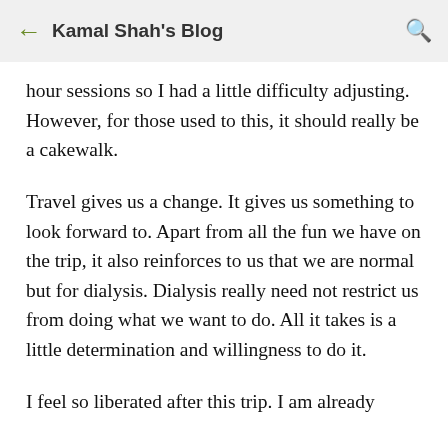← Kamal Shah's Blog 🔍
hour sessions so I had a little difficulty adjusting. However, for those used to this, it should really be a cakewalk.
Travel gives us a change. It gives us something to look forward to. Apart from all the fun we have on the trip, it also reinforces to us that we are normal but for dialysis. Dialysis really need not restrict us from doing what we want to do. All it takes is a little determination and willingness to do it.
I feel so liberated after this trip. I am already